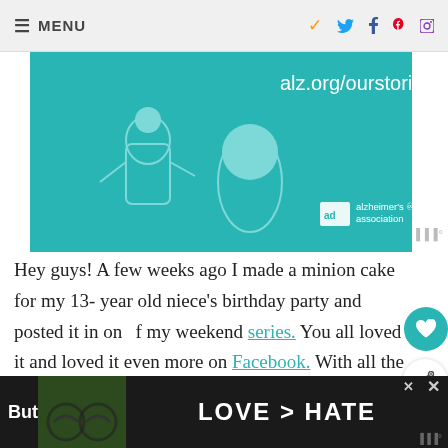≡ MENU
[Figure (illustration): Alzheimer's Association advertisement banner with teal background showing illustrated elderly people and text alz.org/ourstories with the Alzheimer's Association logo]
Hey guys! A few weeks ago I made a minion cake for my 13- year old niece's birthday party and posted it in one of my weekend series. You all loved it and loved it even more on Facebook. With all the requests for a HOW-TO I figured I should let you in on how easy it was to make this minion cake so you can WOW your loved ones too!
[Figure (photo): Bottom advertisement banner with dark background showing hands forming a heart shape and text LOVE > HATE]
[Figure (screenshot): What's Next widget showing Makeup Cake Step-by-Ste... with a pink cake image]